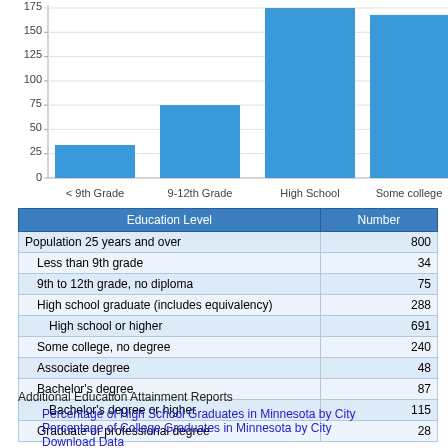[Figure (bar-chart): Education Attainment]
| Education Level | Number |
| --- | --- |
| Population 25 years and over | 800 |
| Less than 9th grade | 34 |
| 9th to 12th grade, no diploma | 75 |
| High school graduate (includes equivalency) | 288 |
| High school or higher | 691 |
| Some college, no degree | 240 |
| Associate degree | 48 |
| Bachelor's degree | 87 |
| Bachelor's degree or higher | 115 |
| Graduate or professional degree | 28 |
Additional Education Attainment Reports
Percentage of High School Graduates in Minnesota by City
Percentage of College Graduates in Minnesota by City
Download Data